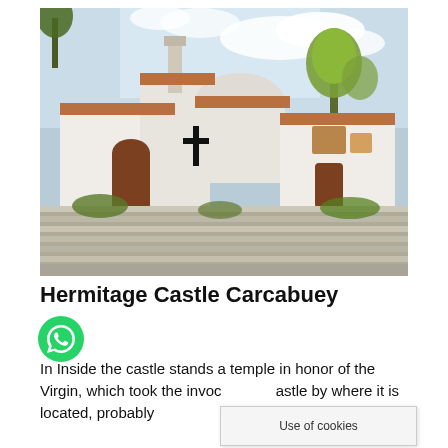[Figure (photo): Photograph of Hermitage Castle Carcabuey: a white-walled Spanish church/castle building with terracotta roof tiles, a round apse, a tall chimney, a wooden cross on the facade, an arched entrance door, and trees on either side. Stone steps lead up to the building in the foreground. Blue sky with clouds in the background.]
Hermitage Castle Carcabuey
[Figure (logo): WhatsApp icon: green circle with white telephone/chat logo]
In Inside the castle stands a temple in honor of the Virgin, which took the invoc castle by where it is located, probably is rising
Use of cookies